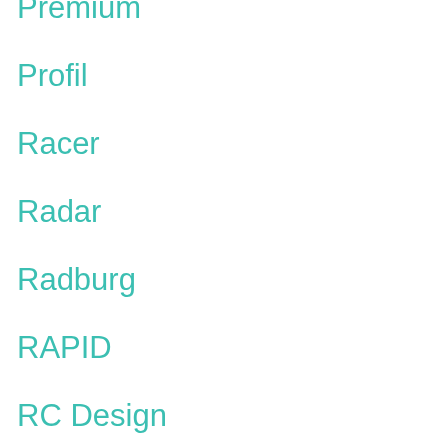Premium
Profil
Racer
Radar
Radburg
RAPID
RC Design
Recip
Redbourne
Retro
Rial
Riken